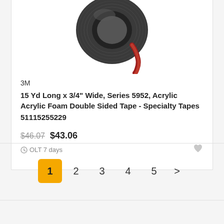[Figure (photo): A roll of 3M acrylic foam double-sided tape, dark gray/black foam with red liner, partially unrolled, viewed from above against white background.]
3M
15 Yd Long x 3/4" Wide, Series 5952, Acrylic Acrylic Foam Double Sided Tape - Specialty Tapes
51115255229
$46.07 $43.06
OLT 7 days
1 2 3 4 5 >